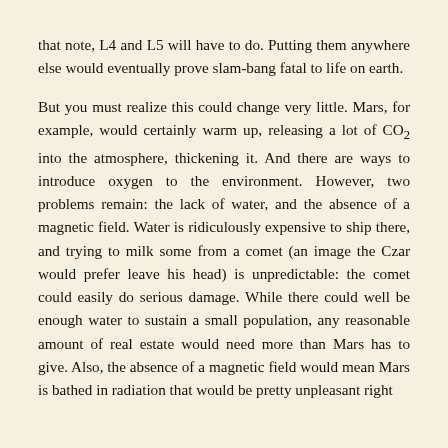that note, L4 and L5 will have to do. Putting them anywhere else would eventually prove slam-bang fatal to life on earth.
But you must realize this could change very little. Mars, for example, would certainly warm up, releasing a lot of CO₂ into the atmosphere, thickening it. And there are ways to introduce oxygen to the environment. However, two problems remain: the lack of water, and the absence of a magnetic field. Water is ridiculously expensive to ship there, and trying to milk some from a comet (an image the Czar would prefer leave his head) is unpredictable: the comet could easily do serious damage. While there could well be enough water to sustain a small population, any reasonable amount of real estate would need more than Mars has to give. Also, the absence of a magnetic field would mean Mars is bathed in radiation that would be pretty unpleasant right